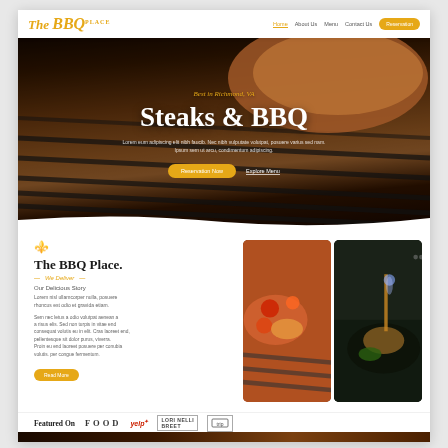[Figure (screenshot): BBQ restaurant website screenshot showing navigation bar with 'The BBQ Place' logo, hero section with grilled meat background, and about section below]
Steaks & BBQ
Best in Richmond, VA
Lorem eum adipiscing elit nibh faucib. Nec nibh vulputate volutpat, posuere varius sed nam. Ipsum sem ut arcu, condimentum adipiscing.
The BBQ Place.
Our Delicious Story
Lorem nisl ullamcorper nulla, posuere rhoncus est odio et gravida etiam.
Sem nec letus a odio volutpat aenean a a risus elis. Sed non turpis in vitae end consequat volutis eu in elit. Cras laoreet end, pellentesque sit dolor purus, viverra. Proin eu end laoreet posuere per conubia viverra. Volutis per congue fermentum.
Featured On
FOOD
yelp
LORI NELLI BREET